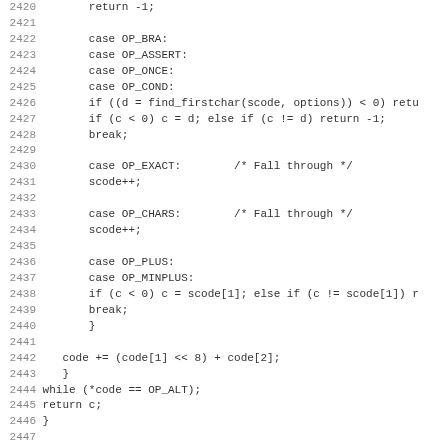Source code listing lines 2420-2451, showing a C switch statement with cases OP_BRA, OP_ASSERT, OP_ONCE, OP_COND, OP_EXACT, OP_CHARS, OP_PLUS, OP_MINPLUS and surrounding logic.